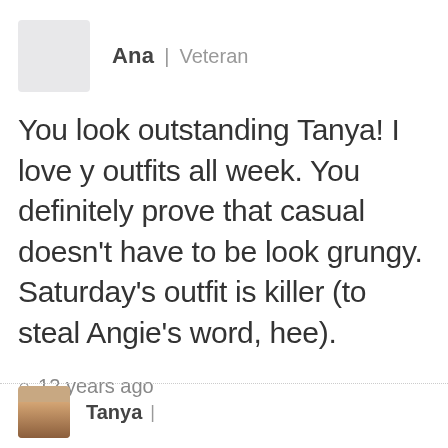Ana | Veteran
You look outstanding Tanya! I love y outfits all week. You definitely prove that casual doesn't have to be look grungy. Saturday's outfit is killer (to steal Angie's word, hee).
12 years ago